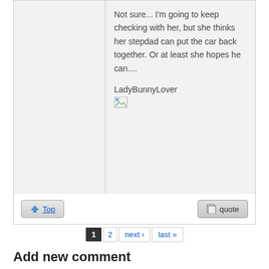Not sure... I'm going to keep checking with her, but she thinks her stepdad can put the car back together. Or at least she hopes he can....
LadyBunnyLover
Top   quote
1  2  next ›  last »
Add new comment